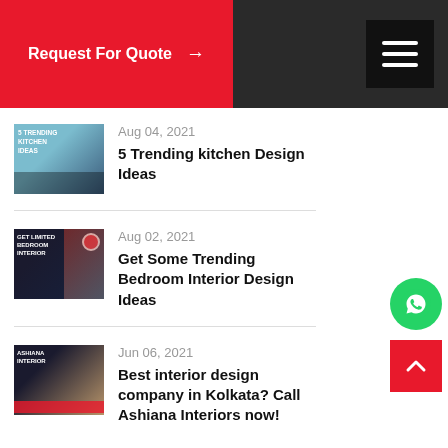Request For Quote →
Aug 04, 2021
5 Trending kitchen Design Ideas
Aug 02, 2021
Get Some Trending Bedroom Interior Design Ideas
Jun 06, 2021
Best interior design company in Kolkata? Call Ashiana Interiors now!
[Figure (logo): WhatsApp icon button (green circle)]
[Figure (other): Back to top button (red square with white chevron up)]